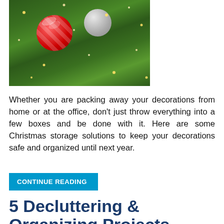[Figure (photo): Christmas tree ornaments — a large red-and-white striped glitter ornament and a silver ornament among green pine branches with warm fairy lights]
Whether you are packing away your decorations from home or at the office, don't just throw everything into a few boxes and be done with it. Here are some Christmas storage solutions to keep your decorations safe and organized until next year.
CONTINUE READING
5 Decluttering & Organizing Projects